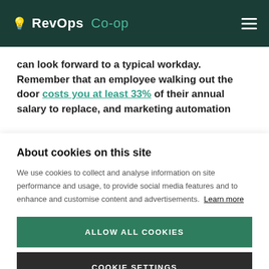RevOps Co-op
can look forward to a typical workday. Remember that an employee walking out the door costs you at least 33% of their annual salary to replace, and marketing automation
About cookies on this site
We use cookies to collect and analyse information on site performance and usage, to provide social media features and to enhance and customise content and advertisements. Learn more
ALLOW ALL COOKIES
COOKIE SETTINGS